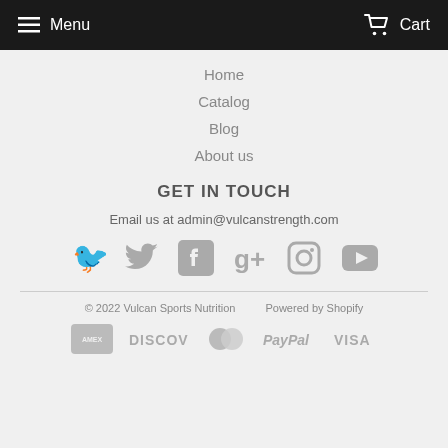Menu  Cart
Home
Catalog
Blog
About us
GET IN TOUCH
Email us at admin@vulcanstrength.com
[Figure (infographic): Social media icons: Twitter, Facebook, Google+, Instagram, YouTube]
© 2022 Vulcan Sports Nutrition   Powered by Shopify
[Figure (infographic): Payment method logos: American Express, Discover, MasterCard, PayPal, Visa]